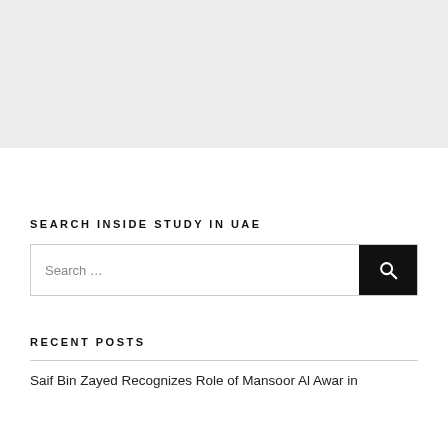[Figure (other): Gray banner/advertisement placeholder at top of page]
SEARCH INSIDE STUDY IN UAE
[Figure (other): Search box with text 'Search ...' and a black search button with magnifying glass icon]
RECENT POSTS
Saif Bin Zayed Recognizes Role of Mansoor Al Awar in